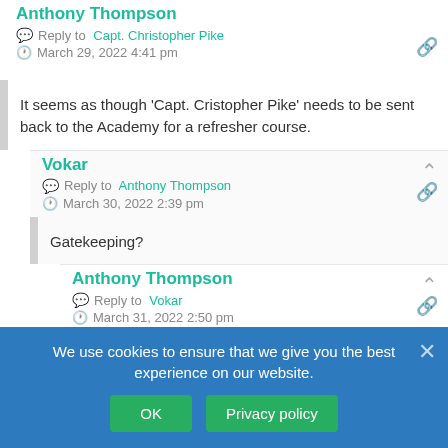Anthony Thompson
Reply to Capt. Christopher Pike
March 29, 2022 4:41 pm
It seems as though 'Capt. Cristopher Pike' needs to be sent back to the Academy for a refresher course.
Vokar
Reply to Anthony Thompson
March 30, 2022 2:39 pm
Gatekeeping?
Anthony Thompson
Reply to Vokar
March 31, 2022 2:50 pm
No, it's a little concept known as humor, homeboy.
Reply to Capt. Christopher Pike
You need to go back and do a refresher watch of
We use cookies to ensure that we give you the best experience on our website.
OK
Privacy policy